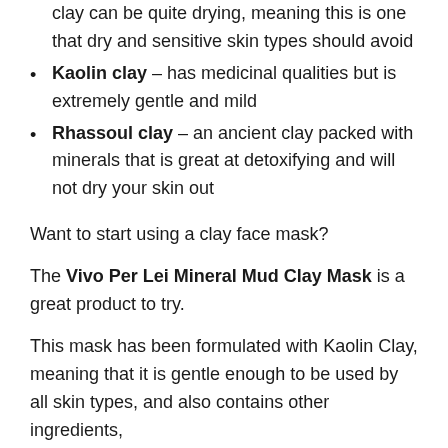clay can be quite drying, meaning this is one that dry and sensitive skin types should avoid
Kaolin clay – has medicinal qualities but is extremely gentle and mild
Rhassoul clay – an ancient clay packed with minerals that is great at detoxifying and will not dry your skin out
Want to start using a clay face mask?
The Vivo Per Lei Mineral Mud Clay Mask is a great product to try.
This mask has been formulated with Kaolin Clay, meaning that it is gentle enough to be used by all skin types, and also contains other ingredients,